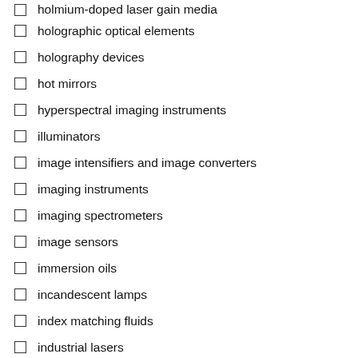holmium-doped laser gain media
holographic optical elements
holography devices
hot mirrors
hyperspectral imaging instruments
illuminators
image intensifiers and image converters
imaging instruments
imaging spectrometers
image sensors
immersion oils
incandescent lamps
index matching fluids
industrial lasers